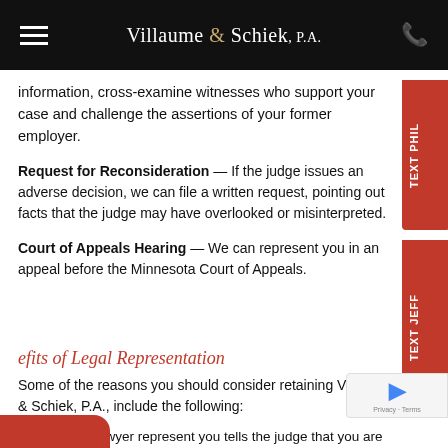Villaume & Schiek, P.A.
information, cross-examine witnesses who support your case and challenge the assertions of your former employer.
Request for Reconsideration — If the judge issues an adverse decision, we can file a written request, pointing out facts that the judge may have overlooked or misinterpreted.
Court of Appeals Hearing — We can represent you in an appeal before the Minnesota Court of Appeals.
Benefits of Legal Representation
Some of the reasons you should consider retaining Villaume & Schiek, P.A., include the following:
Having a lawyer represent you tells the judge that you are serious about your case.
You have only one opportunity to provide the judge with relevant information.